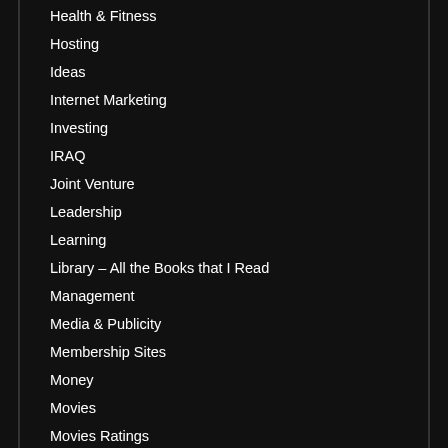Health & Fitness
Hosting
Ideas
Internet Marketing
Investing
IRAQ
Joint Venture
Leadership
Learning
Library – All the Books that I Read
Management
Media & Publicity
Membership Sites
Money
Movies
Movies Ratings
Movies Ratings and Reviews
Must Read Books